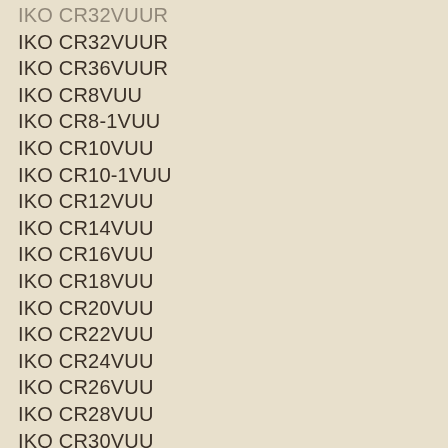IKO CR32VUUR
IKO CR36VUUR
IKO CR8VUU
IKO CR8-1VUU
IKO CR10VUU
IKO CR10-1VUU
IKO CR12VUU
IKO CR14VUU
IKO CR16VUU
IKO CR18VUU
IKO CR20VUU
IKO CR22VUU
IKO CR24VUU
IKO CR26VUU
IKO CR28VUU
IKO CR30VUU
IKO CR32VUU
IKO CR36VUU
IKO CR48VUU